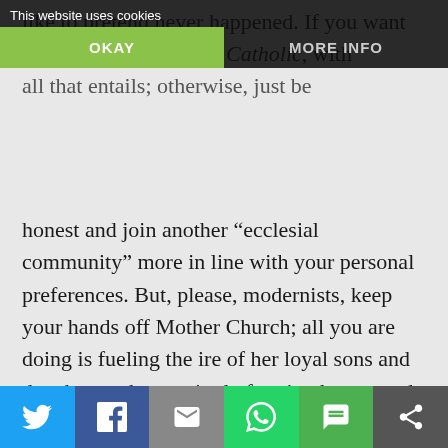[Figure (screenshot): Cookie consent banner overlay with 'This website uses cookies' text, OKAY button (green) and MORE INFO button (dark) on a dark background]
like to pretend never happened. If you want to be Catholic, then be Catholic, with all that entails; otherwise, just be honest and join another “ecclesial community” more in line with your personal preferences. But, please, modernists, keep your hands off Mother Church; all you are doing is fueling the ire of her loyal sons and daughters who are tired of seeing her treated as if she is inherently flawed and ugly rather than the beautiful, spotless Bride of Our Lord Jesus Christ that she is.
Reply
[Figure (infographic): Social sharing bar at bottom with Twitter, Facebook, Email, WhatsApp, SMS, and More icons]